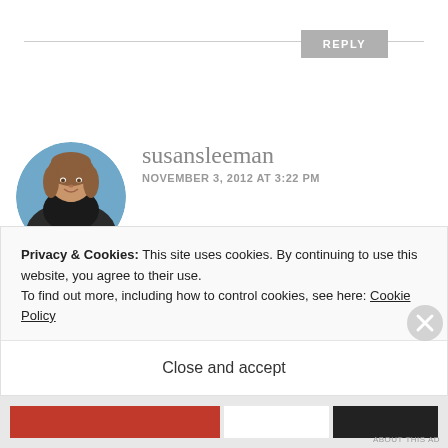[Figure (other): Reply button with horizontal line divider]
[Figure (photo): Circular avatar photo of susansleeman, a woman with short brown hair]
susansleeman
NOVEMBER 3, 2012 AT 3:22 PM
Thanks for stopping by Nancy
Privacy & Cookies: This site uses cookies. By continuing to use this website, you agree to their use.
To find out more, including how to control cookies, see here: Cookie Policy
Close and accept